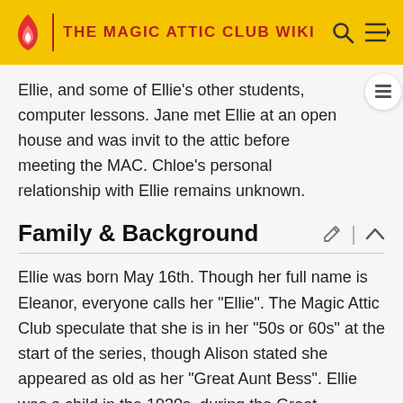THE MAGIC ATTIC CLUB WIKI
Ellie, and some of Ellie's other students, computer lessons. Jane met Ellie at an open house and was invit to the attic before meeting the MAC. Chloe's personal relationship with Ellie remains unknown.
Family & Background
Ellie was born May 16th. Though her full name is Eleanor, everyone calls her "Ellie". The Magic Attic Club speculate that she is in her "50s or 60s" at the start of the series, though Alison stated she appeared as old as her "Great Aunt Bess". Ellie was a child in the 1930s, during the Great Depression.
Ellie has lived on Primrose Street her whole life. She